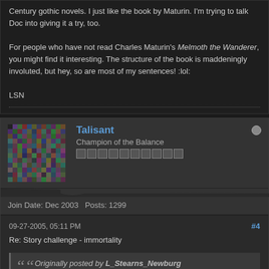Century gothic novels. I just like the book by Maturin. I'm trying to talk Doc into giving it a try, too.
For people who have not read Charles Maturin's Melmoth the Wanderer, you might find it interesting. The structure of the book is maddeningly involuted, but hey, so are most of my sentences! :lol:
LSN
Talisant
Champion of the Balance
Join Date: Dec 2003   Posts: 1299
09-27-2005, 05:11 PM
#4
Re: Story challenge - immortality
Originally posted by L_Stearns_Newburg
NO MAGIC!
good working title